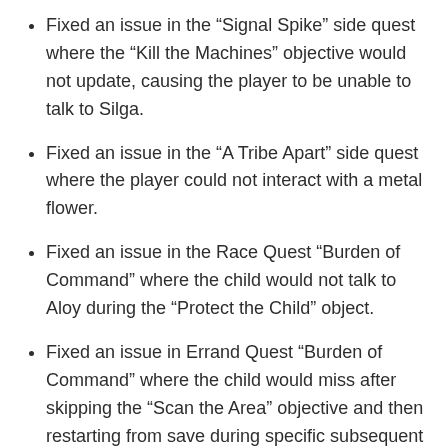Fixed an issue in the “Signal Spike” side quest where the “Kill the Machines” objective would not update, causing the player to be unable to talk to Silga.
Fixed an issue in the “A Tribe Apart” side quest where the player could not interact with a metal flower.
Fixed an issue in the Race Quest “Burden of Command” where the child would not talk to Aloy during the “Protect the Child” object.
Fixed an issue in Errand Quest “Burden of Command” where the child would miss after skipping the “Scan the Area” objective and then restarting from save during specific subsequent objectives.